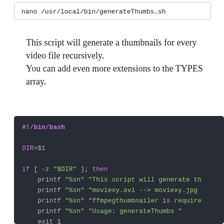nano /usr/local/bin/generateThumbs.sh
This script will generate a thumbnails for every video file recursively.
You can add even more extensions to the TYPES array.
[Figure (screenshot): Bash script code block on dark background (#282c34) showing: #!/bin/bash, DIR=$1, if [ -z "$DIR" ]; then, printf lines, exit 1, fi, TYPES=( mov mp4 avi mkv m4v xvid divx wmv mpg]